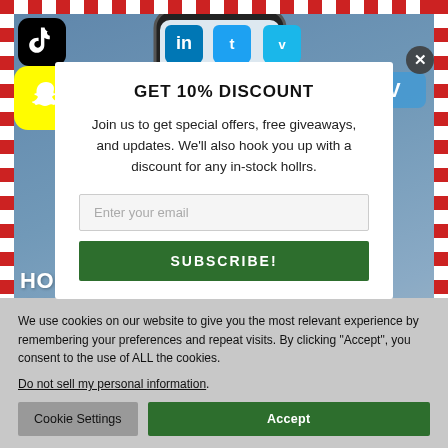[Figure (screenshot): A screenshot of a webpage showing a social media app page for Hollr with multiple overlapping UI elements: a newsletter discount popup in the foreground, the Hollr website content in the background, and a cookie consent bar at the bottom. Social media app icons (TikTok, Snapchat, Venmo) and a phone mockup with social media app icons are visible in the background.]
GET 10% DISCOUNT
Join us to get special offers, free giveaways, and updates. We'll also hook you up with a discount for any in-stock hollrs.
HOLLR HELPS YOU INSTANTLY CONNECT WITH ANYONE.
A digital hollr that makes it easier for people struggling to exchange information, both in-person and online.
We use cookies on our website to give you the most relevant experience by remembering your preferences and repeat visits. By clicking "Accept", you consent to the use of ALL the cookies.
Do not sell my personal information.
Cookie Settings
Accept
SUBSCRIBE!